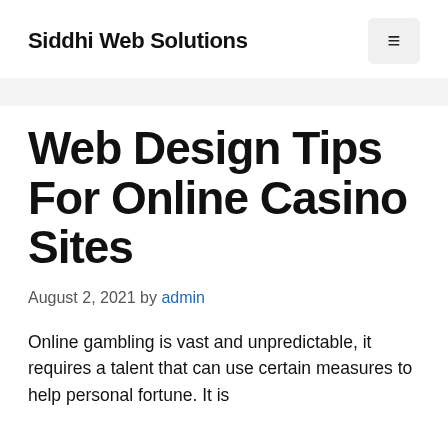Siddhi Web Solutions
Web Design Tips For Online Casino Sites
August 2, 2021 by admin
Online gambling is vast and unpredictable, it requires a talent that can use certain measures to help personal fortune. It is